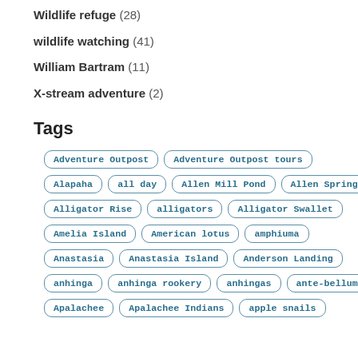Wildlife refuge (28)
wildlife watching (41)
William Bartram (11)
X-stream adventure (2)
Tags
Adventure Outpost
Adventure Outpost tours
Alapaha
all day
Allen Mill Pond
Allen Spring
Alligator Rise
alligators
Alligator Swallet
Amelia Island
American lotus
amphiuma
Anastasia
Anastasia Island
Anderson Landing
anhinga
anhinga rookery
anhingas
ante-bellum
Apalachee
Apalachee Indians
apple snails